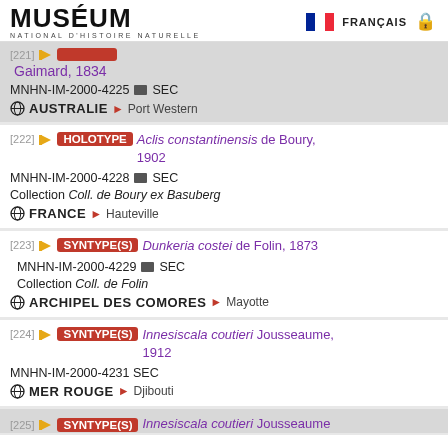MUSÉUM National d'Histoire Naturelle — FRANÇAIS
[221 partial] Gaimard, 1834 — MNHN-IM-2000-4225 SEC — AUSTRALIE > Port Western
[222] HOLOTYPE Aclis constantinensis de Boury, 1902 — MNHN-IM-2000-4228 SEC — Collection Coll. de Boury ex Basuberg — FRANCE > Hauteville
[223] SYNTYPE(S) Dunkeria costei de Folin, 1873 — MNHN-IM-2000-4229 SEC — Collection Coll. de Folin — ARCHIPEL DES COMORES > Mayotte
[224] SYNTYPE(S) Innesiscala coutieri Jousseaume, 1912 — MNHN-IM-2000-4231 SEC — MER ROUGE > Djibouti
[225 partial] SYNTYPE(S) Innesiscala coutieri Jousseaume